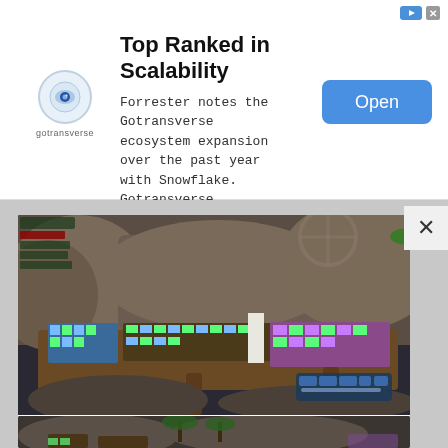[Figure (screenshot): Advertisement banner for Gotransverse. Contains logo with eye icon, headline text, description, and blue Open button.]
Top Ranked in Scalability
Forrester notes the Gotransverse ecosystem expansion over the past year with Snowflake. Gotransverse
[Figure (screenshot): Video game screenshot showing a floating wooden platform with colorful market stalls, rocks, palm trees, and a UI element bottom right.]
Beach Access
[Figure (screenshot): Partial video game screenshot showing rocks, palm trees, and wooden structures at the bottom of the page.]